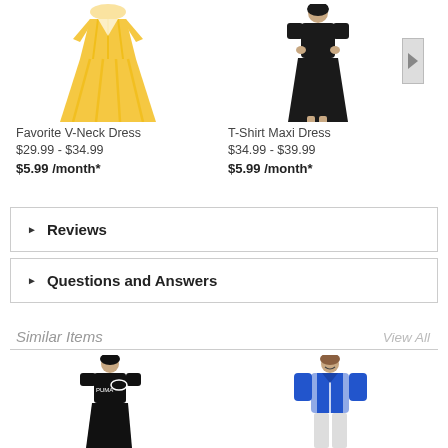[Figure (photo): Yellow striped V-neck maxi dress on a mannequin/hanger, product photo]
[Figure (photo): Black T-shirt maxi dress worn by a model, product photo]
Favorite V-Neck Dress
$29.99  - $34.99
$5.99  /month*
T-Shirt Maxi Dress
$34.99  - $39.99
$5.99  /month*
Reviews
Questions and Answers
Similar Items
View All
[Figure (photo): Black Puma dress worn by a model, similar item product photo]
[Figure (photo): Blue zip-up athletic jacket worn by a smiling model, similar item product photo]